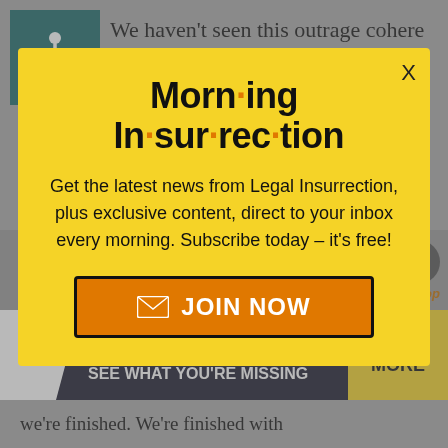[Figure (illustration): Wheelchair accessibility icon in teal square]
We haven't seen this outrage cohere in the primaries because of the lack of an adequate vessel for it, beyond the diffuse and leaderless Tea Party
[Figure (infographic): Morning Insurrection newsletter signup modal with yellow background, close X button, JOIN NOW orange button]
to take down Romney.
[Figure (infographic): The Perspective banner - SEE WHAT YOU'RE MISSING with READ MORE button]
we're finished. We're finished with